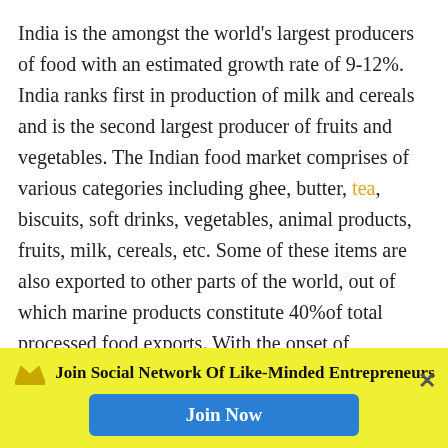India is the amongst the world's largest producers of food with an estimated growth rate of 9-12%. India ranks first in production of milk and cereals and is the second largest producer of fruits and vegetables. The Indian food market comprises of various categories including ghee, butter, tea, biscuits, soft drinks, vegetables, animal products, fruits, milk, cereals, etc. Some of these items are also exported to other parts of the world, out of which marine products constitute 40%of total processed food exports. With the onset of industrialisation, this sector saw a drastic change in the technology and quality of food production. It contributes a huge amount in the share market. Due to poor post-harvesting technology major portion of it
Join Social Network Of Like-Minded Entrepreneurs
Join Now